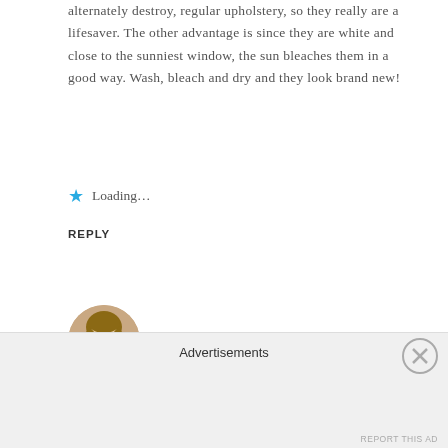alternately destroy, regular upholstery, so they really are a lifesaver. The other advantage is since they are white and close to the sunniest window, the sun bleaches them in a good way. Wash, bleach and dry and they look brand new!
★ Loading…
REPLY
[Figure (photo): Circular avatar photo of Kelly R., a woman with glasses and shoulder-length hair]
Kelly R. - Interiors For Families
SEPTEMBER 17, 2013 AT 1:49 PM
Hi Teresa – Thanks for your comment. I'm so glad to hear you
Advertisements
REPORT THIS AD